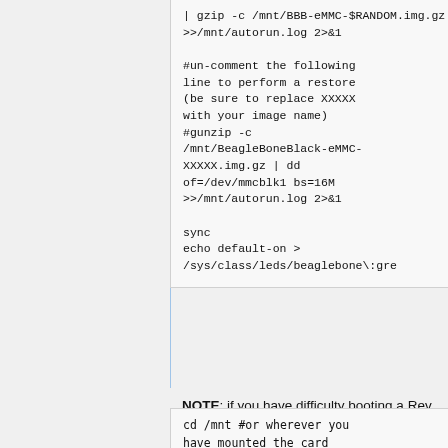| gzip -c /mnt/BBB-eMMC-$RANDOM.img.gz >>/mnt/autorun.log 2>&1

#un-comment the following line to perform a restore (be sure to replace XXXXX with your image name)
#gunzip -c /mnt/BeagleBoneBlack-eMMC-XXXXX.img.gz | dd of=/dev/mmcblk1 bs=16M >>/mnt/autorun.log 2>&1

sync
echo default-on > /sys/class/leds/beaglebone\:gre
NOTE: if you have difficulty booting a Rev. C BBB with this tool mount the SD card and make the following changes:
cd /mnt #or wherever you have mounted the card